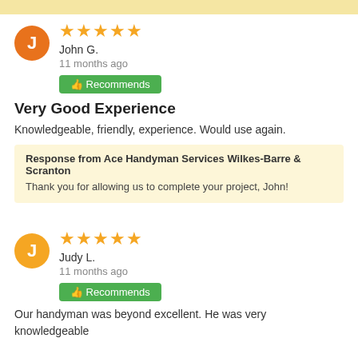John G. — 11 months ago — Recommends — Very Good Experience — Knowledgeable, friendly, experience. Would use again. — Response from Ace Handyman Services Wilkes-Barre & Scranton: Thank you for allowing us to complete your project, John!
Judy L. — 11 months ago — Recommends — Our handyman was beyond excellent. He was very knowledgeable